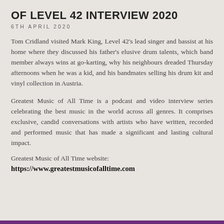OF LEVEL 42 INTERVIEW 2020
6TH APRIL 2020
Tom Cridland visited Mark King, Level 42's lead singer and bassist at his home where they discussed his father's elusive drum talents, which band member always wins at go-karting, why his neighbours dreaded Thursday afternoons when he was a kid, and his bandmates selling his drum kit and vinyl collection in Austria.
Greatest Music of All Time is a podcast and video interview series celebrating the best music in the world across all genres. It comprises exclusive, candid conversations with artists who have written, recorded and performed music that has made a significant and lasting cultural impact.
Greatest Music of All Time website:
https://www.greatestmusicofalltime.com